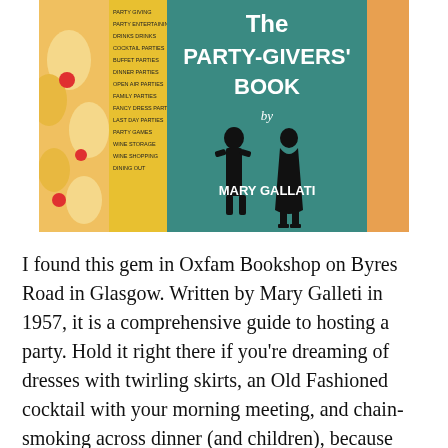[Figure (photo): Photograph of the book cover 'The Party-Givers Book' by Mary Gallati, a vintage teal/green cover featuring silhouettes of two people (a man and a woman), with a list of chapter topics on the left spine/edge, against a floral yellow and orange background.]
I found this gem in Oxfam Bookshop on Byres Road in Glasgow. Written by Mary Galleti in 1957, it is a comprehensive guide to hosting a party. Hold it right there if you're dreaming of dresses with twirling skirts, an Old Fashioned cocktail with your morning meeting, and chain-smoking across dinner (and children), because nobody knew any better. We might look back on the 1950s with a yearning for a